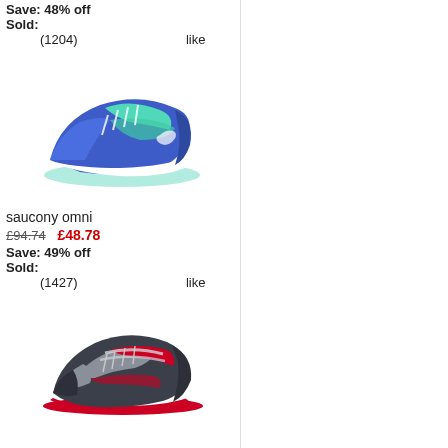Save: 48% off
Sold:
(1204)   like
[Figure (photo): Blue and teal Saucony running shoe facing right]
saucony omni
£94.74   £48.78
Save: 49% off
Sold:
(1427)   like
[Figure (photo): Dark grey and red Saucony running shoe facing right]